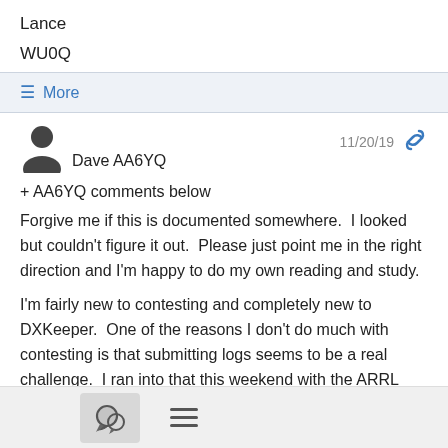Lance
WU0Q
≡ More
Dave AA6YQ
11/20/19
+ AA6YQ comments below
Forgive me if this is documented somewhere.  I looked but couldn't figure it out.  Please just point me in the right direction and I'm happy to do my own reading and study.
I'm fairly new to contesting and completely new to DXKeeper.  One of the reasons I don't do much with contesting is that submitting logs seems to be a real challenge.  I ran into that this weekend with the ARRL Sweepstakes.  I participated in a limited